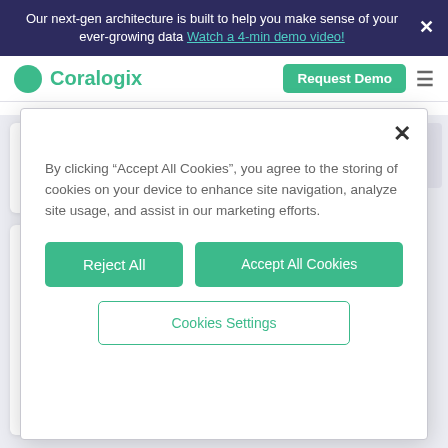Our next-gen architecture is built to help you make sense of your ever-growing data Watch a 4-min demo video!
[Figure (screenshot): Coralogix navigation bar with logo, Request Demo button, and hamburger menu]
[Figure (screenshot): Background website content with card showing lightning bolt icon]
By clicking “Accept All Cookies”, you agree to the storing of cookies on your device to enhance site navigation, analyze site usage, and assist in our marketing efforts.
Reject All
Accept All Cookies
Cookies Settings